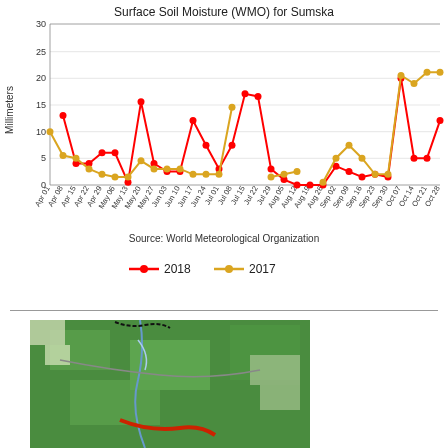[Figure (line-chart): Surface Soil Moisture (WMO) for Sumska]
Source: World Meteorological Organization
[Figure (map): Geographic/satellite map showing Sumska region with green terrain, rivers, and roads.]